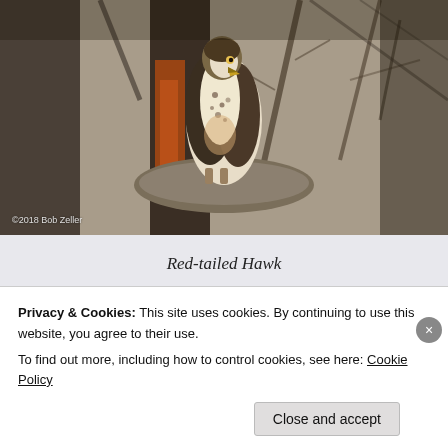[Figure (photo): Photograph of a Red-tailed Hawk perched on a gnarled tree branch or trunk, surrounded by bare branches. The bird has white/cream speckled breast and rust/reddish-brown tail. Photo credit: ©2018 Bob Zeller]
Red-tailed Hawk
[Figure (photo): Partially visible second photo below, showing sandy/light brown textured background, possibly ground or rock, with blurred foreground.]
Privacy & Cookies: This site uses cookies. By continuing to use this website, you agree to their use.
To find out more, including how to control cookies, see here: Cookie Policy
Close and accept